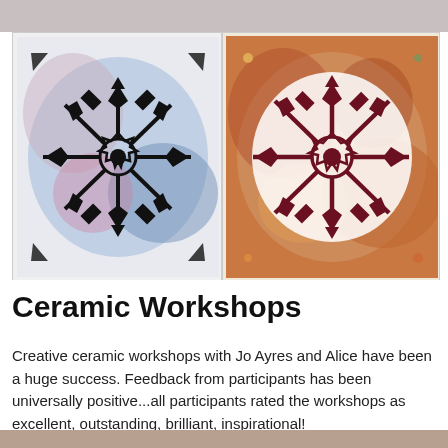[Figure (photo): Two ceramic artwork prints side by side showing decorative snowflake/mandala patterns. Left image has black ink on blue/white background. Right image has dark red/brown on orange/rust background.]
Ceramic Workshops
Creative ceramic workshops with Jo Ayres and Alice have been a huge success. Feedback from participants has been universally positive...all participants rated the workshops as excellent, outstanding, brilliant, inspirational!